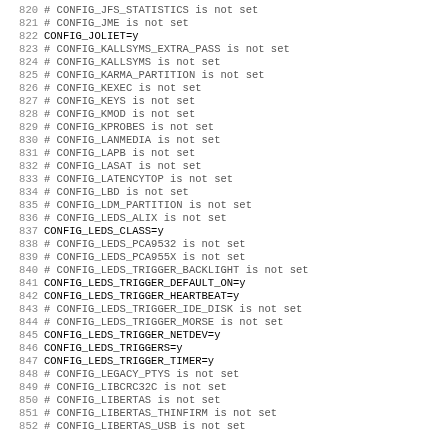820 # CONFIG_JFS_STATISTICS is not set
821 # CONFIG_JME is not set
822 CONFIG_JOLIET=y
823 # CONFIG_KALLSYMS_EXTRA_PASS is not set
824 # CONFIG_KALLSYMS is not set
825 # CONFIG_KARMA_PARTITION is not set
826 # CONFIG_KEXEC is not set
827 # CONFIG_KEYS is not set
828 # CONFIG_KMOD is not set
829 # CONFIG_KPROBES is not set
830 # CONFIG_LANMEDIA is not set
831 # CONFIG_LAPB is not set
832 # CONFIG_LASAT is not set
833 # CONFIG_LATENCYTOP is not set
834 # CONFIG_LBD is not set
835 # CONFIG_LDM_PARTITION is not set
836 # CONFIG_LEDS_ALIX is not set
837 CONFIG_LEDS_CLASS=y
838 # CONFIG_LEDS_PCA9532 is not set
839 # CONFIG_LEDS_PCA955X is not set
840 # CONFIG_LEDS_TRIGGER_BACKLIGHT is not set
841 CONFIG_LEDS_TRIGGER_DEFAULT_ON=y
842 CONFIG_LEDS_TRIGGER_HEARTBEAT=y
843 # CONFIG_LEDS_TRIGGER_IDE_DISK is not set
844 # CONFIG_LEDS_TRIGGER_MORSE is not set
845 CONFIG_LEDS_TRIGGER_NETDEV=y
846 CONFIG_LEDS_TRIGGERS=y
847 CONFIG_LEDS_TRIGGER_TIMER=y
848 # CONFIG_LEGACY_PTYS is not set
849 # CONFIG_LIBCRC32C is not set
850 # CONFIG_LIBERTAS is not set
851 # CONFIG_LIBERTAS_THINFIRM is not set
852 # CONFIG_LIBERTAS_USB is not set